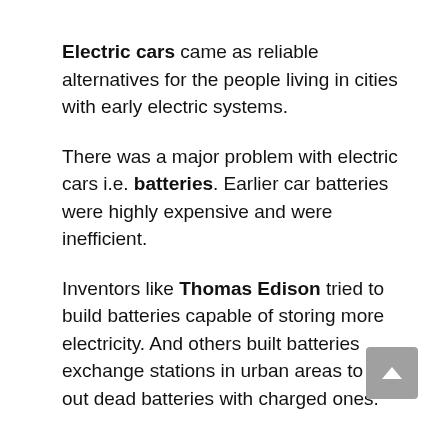Electric cars came as reliable alternatives for the people living in cities with early electric systems.
There was a major problem with electric cars i.e. batteries. Earlier car batteries were highly expensive and were inefficient.
Inventors like Thomas Edison tried to build batteries capable of storing more electricity. And others built batteries exchange stations in urban areas to swap out dead batteries with charged ones.